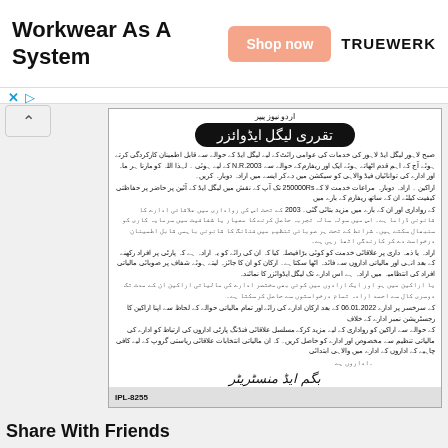[Figure (screenshot): Advertisement banner for Truewerk workwear with 'Shop now' button]
[Figure (screenshot): Urdu legal notice document titled 'Taqaruri Legal Aid Advisor' with body text in Urdu script, a date reference to 06.01.2022, signature area, and IPL-8255 reference number at bottom]
Share With Friends